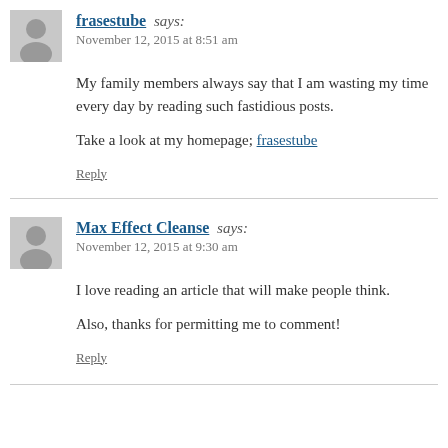frasestube says:
November 12, 2015 at 8:51 am
My family members always say that I am wasting my time every day by reading such fastidious posts.
Take a look at my homepage; frasestube
Reply
Max Effect Cleanse says:
November 12, 2015 at 9:30 am
I love reading an article that will make people think.
Also, thanks for permitting me to comment!
Reply